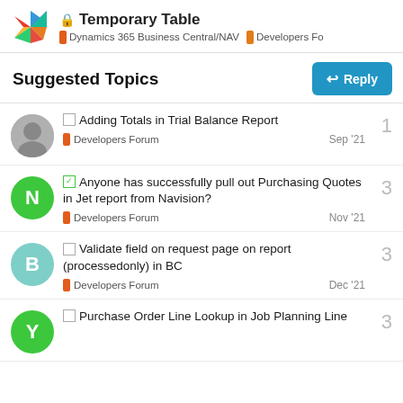🔒 Temporary Table | Dynamics 365 Business Central/NAV | Developers Fo
Suggested Topics
□ Adding Totals in Trial Balance Report | Developers Forum | Sep '21 | 1
☑ Anyone has successfully pull out Purchasing Quotes in Jet report from Navision? | Developers Forum | Nov '21 | 3
□ Validate field on request page on report (processedonly) in BC | Developers Forum | Dec '21 | 3
□ Purchase Order Line Lookup in Job Planning Line | 3